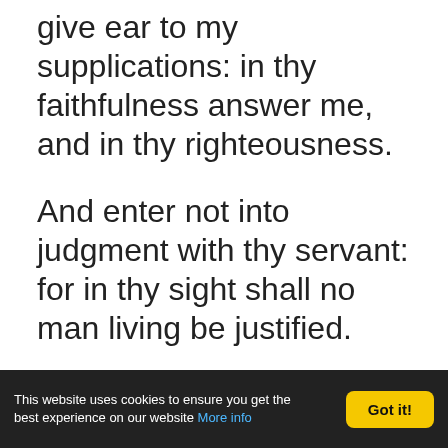give ear to my supplications: in thy faithfulness answer me, and in thy righteousness.
And enter not into judgment with thy servant: for in thy sight shall no man living be justified.
For the enemy hath persecuted my soul; he hath smitten my life down to the ground; he hath made me to dwell in darkness, as those that
This website uses cookies to ensure you get the best experience on our website More info  Got it!